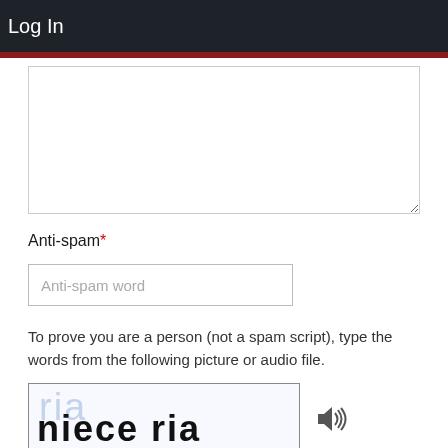Log In
[Figure (screenshot): Large empty text area input field with resize handle in bottom right corner]
Anti-spam*
[Figure (screenshot): Text input field with placeholder text 'Anti-spam word']
To prove you are a person (not a spam script), type the words from the following picture or audio file.
[Figure (screenshot): CAPTCHA image showing the words 'niece ria' with a faded blue background text, and a speaker/audio icon to the right]